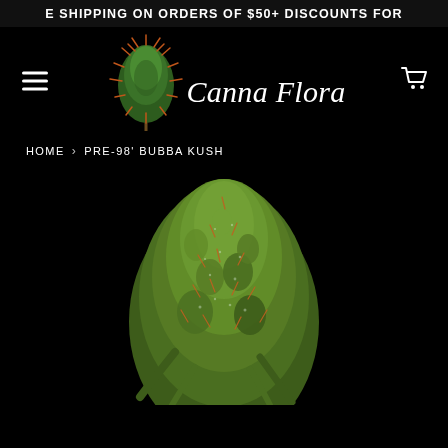E SHIPPING ON ORDERS OF $50+ DISCOUNTS FOR
[Figure (logo): Canna Flora logo: stylized green cactus/cannabis plant with orange spines, with cursive text 'Canna Flora' beside it. Hamburger menu icon on left, shopping cart icon on right.]
HOME > PRE-98' BUBBA KUSH
[Figure (photo): Close-up photo of a large cannabis bud (Pre-98' Bubba Kush strain) against a black background. The bud is dense, green with orange pistils and appears well-frosted with trichomes.]